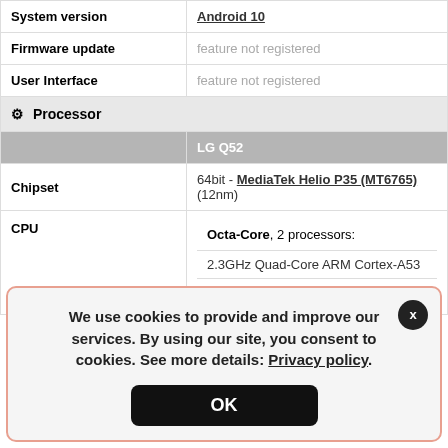| Property | Value |
| --- | --- |
| System version | Android 10 |
| Firmware update | feature not registered |
| User Interface | feature not registered |
| ⚙ Processor |  |
|  | LG Q52 |
| Chipset | 64bit - MediaTek Helio P35 (MT6765) (12nm) |
| CPU | Octa-Core, 2 processors:
2.3GHz Quad-Core ARM Cortex-A53
1.8GHz Quad-Core ARM Cortex-A53 |
We use cookies to provide and improve our services. By using our site, you consent to cookies. See more details: Privacy policy.
OK